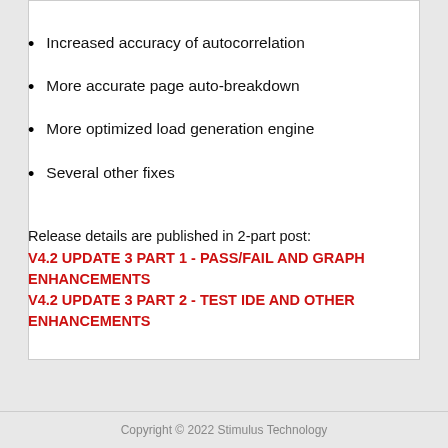Increased accuracy of autocorrelation
More accurate page auto-breakdown
More optimized load generation engine
Several other fixes
Release details are published in 2-part post:
V4.2 UPDATE 3 PART 1 - PASS/FAIL AND GRAPH ENHANCEMENTS
V4.2 UPDATE 3 PART 2 - TEST IDE AND OTHER ENHANCEMENTS
Copyright © 2022 Stimulus Technology